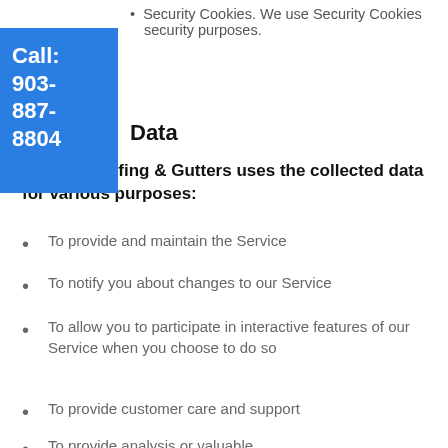Security Cookies. We use Security Cookies security purposes.
Data
Legacy Roofing & Gutters uses the collected data for various purposes:
To provide and maintain the Service
To notify you about changes to our Service
To allow you to participate in interactive features of our Service when you choose to do so
To provide customer care and support
To provide analysis or valuable